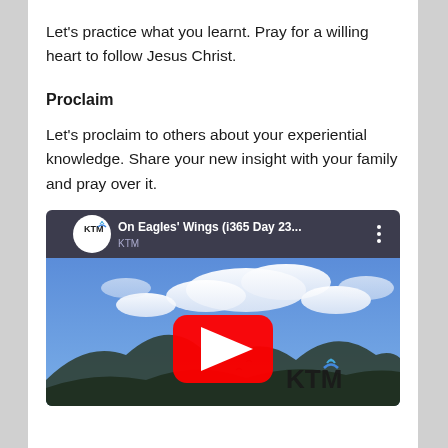Let's practice what you learnt. Pray for a willing heart to follow Jesus Christ.
Proclaim
Let's proclaim to others about your experiential knowledge. Share your new insight with your family and pray over it.
[Figure (screenshot): YouTube video thumbnail showing 'On Eagles' Wings (i365 Day 23...' by KTM channel, featuring a blue sky with clouds over a mountain silhouette, with a red YouTube play button in the center and KTM logo watermark.]